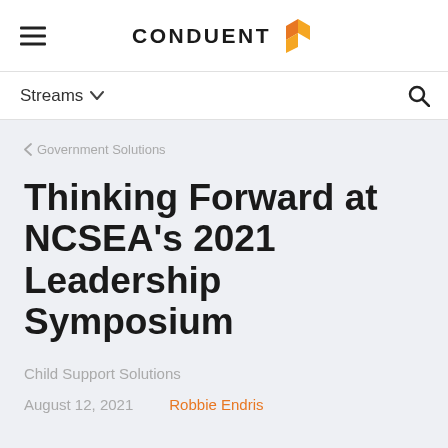CONDUENT [logo]
Streams
< Government Solutions
Thinking Forward at NCSEA's 2021 Leadership Symposium
Child Support Solutions
August 12, 2021    Robbie Endris